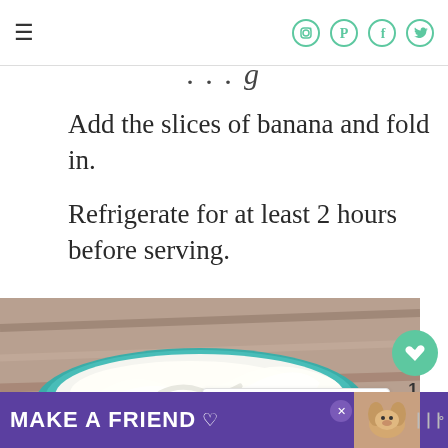≡ [social icons: Instagram, Pinterest, Facebook, Twitter]
Add the slices of banana and fold in.
Refrigerate for at least 2 hours before serving.
[Figure (photo): A bowl of whipped cream or banana pudding dessert on a wooden surface, with a teal/turquoise bowl visible, shot from above at an angle.]
WHAT'S NEXT → Grinch Popcorn
MAKE A FRIEND